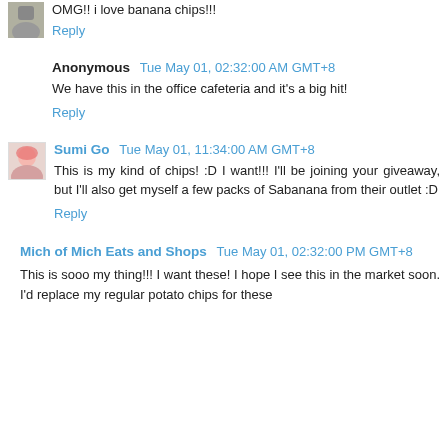OMG!! i love banana chips!!!
Reply
Anonymous  Tue May 01, 02:32:00 AM GMT+8
We have this in the office cafeteria and it's a big hit!
Reply
Sumi Go  Tue May 01, 11:34:00 AM GMT+8
This is my kind of chips! :D I want!!! I'll be joining your giveaway, but I'll also get myself a few packs of Sabanana from their outlet :D
Reply
Mich of Mich Eats and Shops  Tue May 01, 02:32:00 PM GMT+8
This is sooo my thing!!! I want these! I hope I see this in the market soon. I'd replace my regular potato chips for these